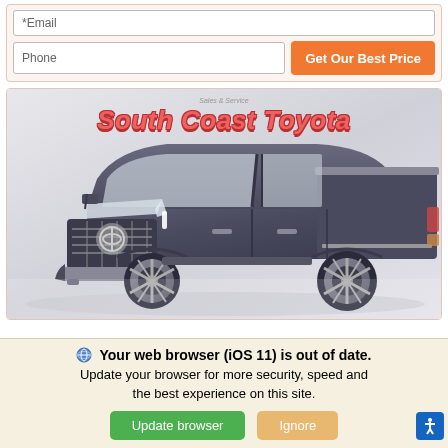*Email
Phone
Get Our Best Price
[Figure (logo): South Coast Toyota dealer logo with red italic text on white background]
[Figure (photo): A dark blue/gray Toyota Tundra pickup truck, front three-quarter view, on a light gray background. The truck features a prominent grille with Toyota logo, LED headlights, and large chrome wheels.]
Your web browser (iOS 11) is out of date.
Update your browser for more security, speed and the best experience on this site.
Update browser
Ignore